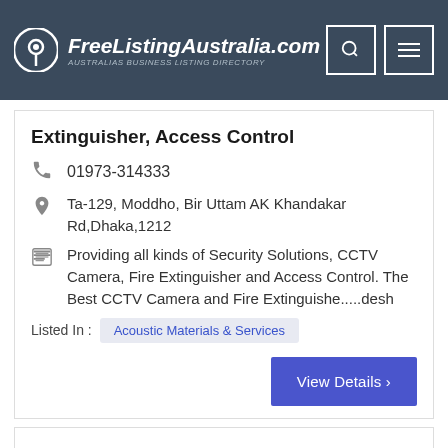FreeListingAustralia.com — AUSTRALIAS BUSINESS LISTING DIRECTORY
Extinguisher, Access Control
01973-314333
Ta-129, Moddho, Bir Uttam AK Khandakar Rd,Dhaka,1212
Providing all kinds of Security Solutions, CCTV Camera, Fire Extinguisher and Access Control. The Best CCTV Camera and Fire Extinguishe.....desh
Listed In : Acoustic Materials & Services
View Details >
[Figure (logo): Colorful tree logo with multi-colored leaves (red, blue, green, teal, purple, yellow) and brown trunk]